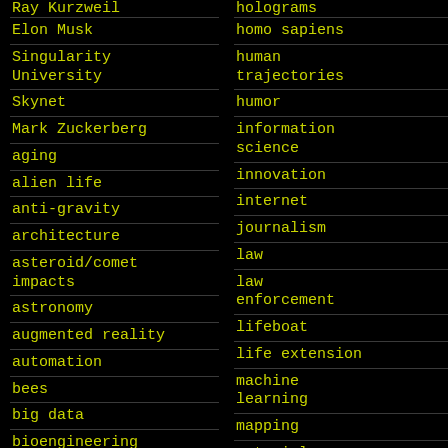| Column 1 | Column 2 |
| --- | --- |
| Ray Kurzweil (partial) | holograms (partial) |
| Elon Musk | homo sapiens |
| Singularity University | human trajectories |
| Skynet | humor |
| Mark Zuckerberg | information science |
| aging | innovation |
| alien life | internet |
| anti-gravity | journalism |
| architecture | law |
| asteroid/comet impacts | law enforcement |
| astronomy | lifeboat |
| augmented reality | life extension |
| automation | machine learning |
| bees | mapping |
| big data | materials |
| bioengineering | mathematics |
| biological (partial) | bionic (partial) |